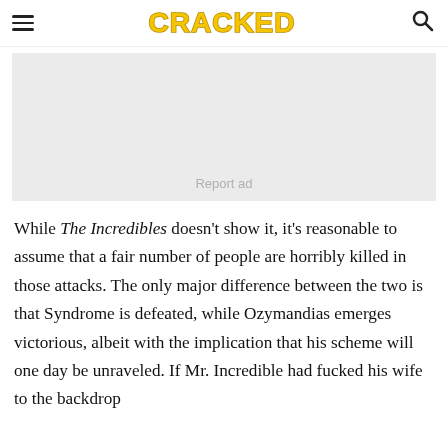CRACKED
[Figure (other): Advertisement placeholder box with 'Report ad' text]
While The Incredibles doesn't show it, it's reasonable to assume that a fair number of people are horribly killed in those attacks. The only major difference between the two is that Syndrome is defeated, while Ozymandias emerges victorious, albeit with the implication that his scheme will one day be unraveled. If Mr. Incredible had fucked his wife to the backdrop